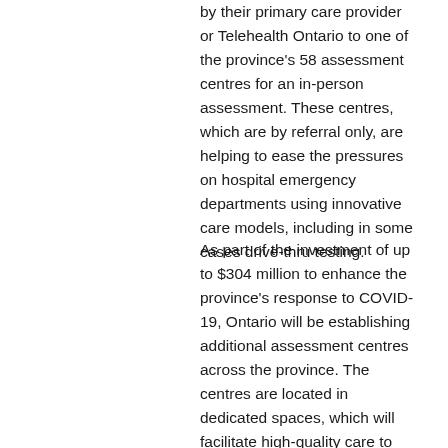by their primary care provider or Telehealth Ontario to one of the province's 58 assessment centres for an in-person assessment. These centres, which are by referral only, are helping to ease the pressures on hospital emergency departments using innovative care models, including in some cases drive-thru testing.
As part of the investment of up to $304 million to enhance the province's response to COVID-19, Ontario will be establishing additional assessment centres across the province. The centres are located in dedicated spaces, which will facilitate high-quality care to protect broader patient populations. The 58 centres that have already been...